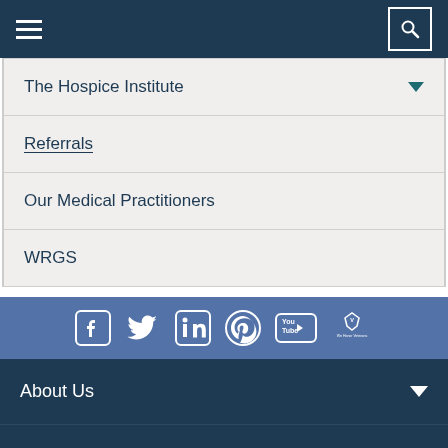Navigation header with hamburger menu and search icon
The Hospice Institute (dropdown)
Referrals
Our Medical Practitioners
WRGS
[Figure (infographic): Social media icons row: Facebook, Twitter, LinkedIn, Pinterest, YouTube, We Honor Veterans]
About Us (dropdown)
Careers (dropdown)